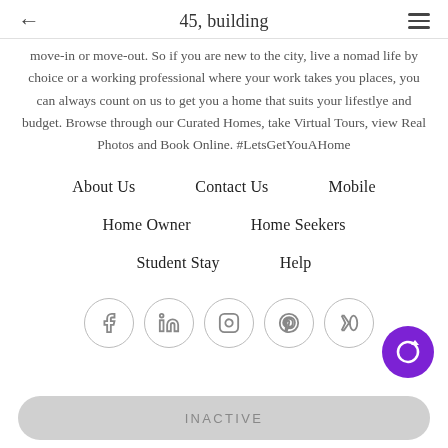← 45, building ≡
move-in or move-out. So if you are new to the city, live a nomad life by choice or a working professional where your work takes you places, you can always count on us to get you a home that suits your lifestlye and budget. Browse through our Curated Homes, take Virtual Tours, view Real Photos and Book Online. #LetsGetYouAHome
About Us
Contact Us
Mobile
Home Owner
Home Seekers
Student Stay
Help
[Figure (other): Row of social media icon buttons: Facebook (f), LinkedIn (in), Instagram (camera), Pinterest (P), Medium (M) — all in circular outlined buttons]
[Figure (other): Purple circular refresh/sync button in bottom-right corner]
INACTIVE